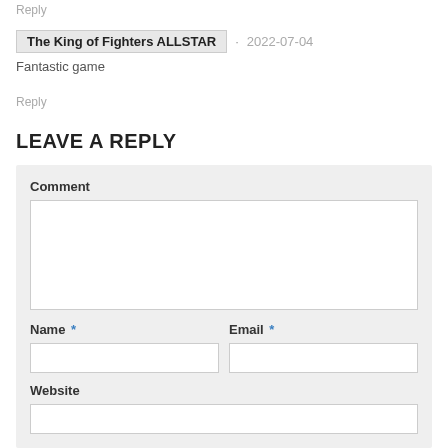Reply
The King of Fighters ALLSTAR · 2022-07-04
Fantastic game
Reply
LEAVE A REPLY
Comment
Name *
Email *
Website